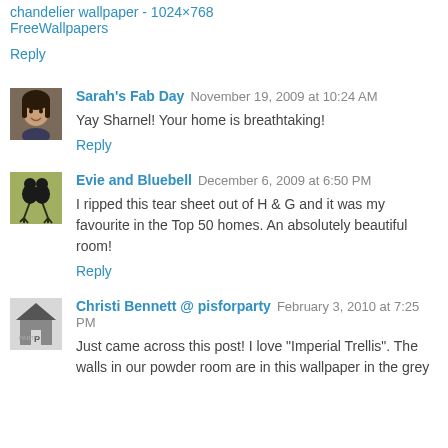chandelier wallpaper - 1024×768
FreeWallpapers
Reply
Sarah's Fab Day  November 19, 2009 at 10:24 AM
Yay Sharnel! Your home is breathtaking!
Reply
Evie and Bluebell  December 6, 2009 at 6:50 PM
I ripped this tear sheet out of H & G and it was my favourite in the Top 50 homes. An absolutely beautiful room!
Reply
Christi Bennett @ pisforparty  February 3, 2010 at 7:25 PM
Just came across this post! I love "Imperial Trellis". The walls in our powder room are in this wallpaper in the grey